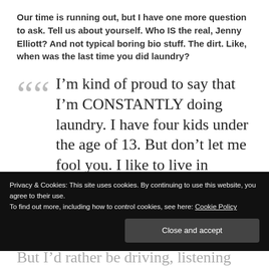Our time is running out, but I have one more question to ask. Tell us about yourself. Who IS the real, Jenny Elliott? And not typical boring bio stuff. The dirt. Like, when was the last time you did laundry?
““ I’m kind of proud to say that I’m CONSTANTLY doing laundry. I have four kids under the age of 13. But don’t let me fool you. I like to live in dreamland. I’m no
Privacy & Cookies: This site uses cookies. By continuing to use this website, you agree to their use.
To find out more, including how to control cookies, see here: Cookie Policy
Close and accept
But I’d rather be driving, listening